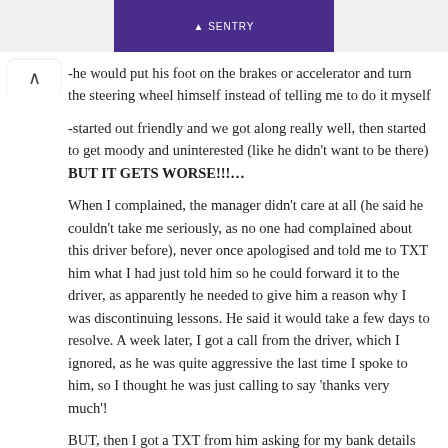[Figure (other): Top banner with Sentry logo and driving school imagery on purple/white background]
-he would put his foot on the brakes or accelerator and turn the steering wheel himself instead of telling me to do it myself
-started out friendly and we got along really well, then started to get moody and uninterested (like he didn't want to be there) BUT IT GETS WORSE!!!…
When I complained, the manager didn't care at all (he said he couldn't take me seriously, as no one had complained about this driver before), never once apologised and told me to TXT him what I had just told him so he could forward it to the driver, as apparently he needed to give him a reason why I was discontinuing lessons. He said it would take a few days to resolve. A week later, I got a call from the driver, which I ignored, as he was quite aggressive the last time I spoke to him, so I thought he was just calling to say 'thanks very much'!
BUT, then I got a TXT from him asking for my bank details so he could refund the remaining lesson money. I called the company asking if this was legitimate, and the manager said I